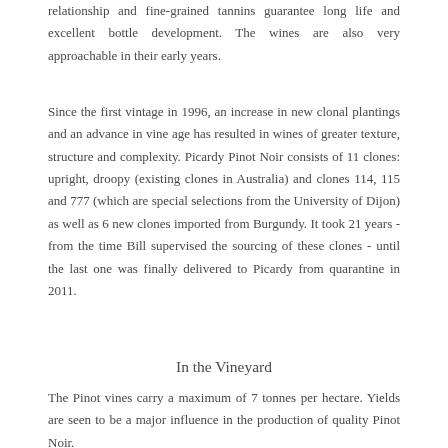relationship and fine-grained tannins guarantee long life and excellent bottle development. The wines are also very approachable in their early years.
Since the first vintage in 1996, an increase in new clonal plantings and an advance in vine age has resulted in wines of greater texture, structure and complexity. Picardy Pinot Noir consists of 11 clones: upright, droopy (existing clones in Australia) and clones 114, 115 and 777 (which are special selections from the University of Dijon) as well as 6 new clones imported from Burgundy. It took 21 years - from the time Bill supervised the sourcing of these clones - until the last one was finally delivered to Picardy from quarantine in 2011.
In the Vineyard
The Pinot vines carry a maximum of 7 tonnes per hectare. Yields are seen to be a major influence in the production of quality Pinot Noir.